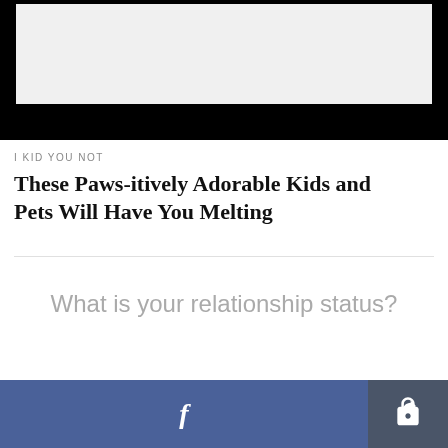[Figure (photo): Top image area with black background and light gray placeholder image rectangle]
I KID YOU NOT
These Paws-itively Adorable Kids and Pets Will Have You Melting
What is your relationship status?
[Figure (other): Bottom bar with Facebook share button (blue) and share/forward button (dark gray)]